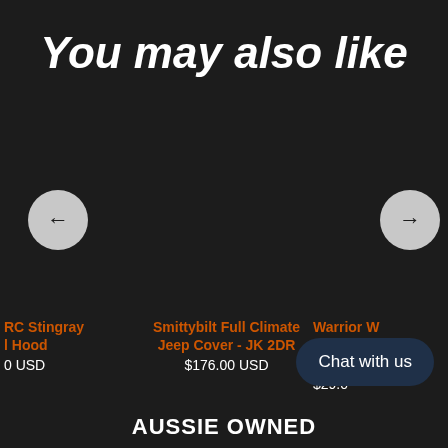You may also like
[Figure (other): Carousel navigation area with left and right arrow buttons on dark background]
RC Stingray l Hood
0 USD
Smittybilt Full Climate Jeep Cover - JK 2DR
$176.00 USD
Warrior W Washer Relocatio
$29.0
Chat with us
AUSSIE OWNED